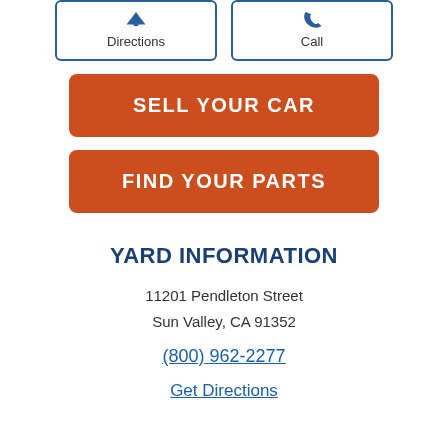[Figure (other): Two buttons side by side: 'Directions' with a map pin/arrow icon and 'Call' with a phone icon, each outlined in blue]
SELL YOUR CAR
FIND YOUR PARTS
YARD INFORMATION
11201 Pendleton Street
Sun Valley, CA 91352
(800) 962-2277
Get Directions